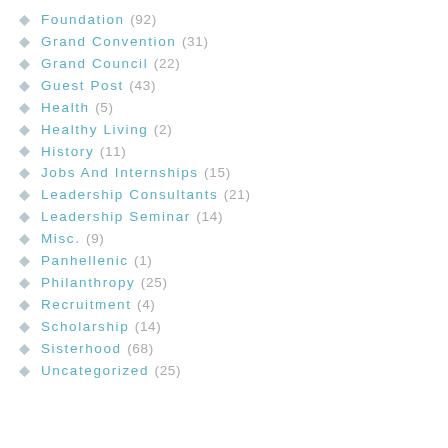Foundation (92)
Grand Convention (31)
Grand Council (22)
Guest Post (43)
Health (5)
Healthy Living (2)
History (11)
Jobs And Internships (15)
Leadership Consultants (21)
Leadership Seminar (14)
Misc. (9)
Panhellenic (1)
Philanthropy (25)
Recruitment (4)
Scholarship (14)
Sisterhood (68)
Uncategorized (25)